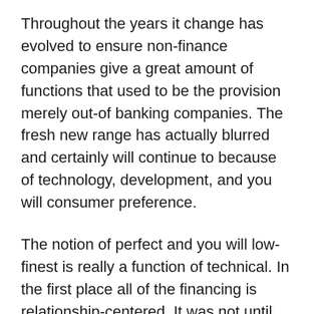Throughout the years it change has evolved to ensure non-finance companies give a great amount of functions that used to be the provision merely out-of banking companies. The fresh new range has actually blurred and certainly will continue to because of technology, development, and you will consumer preference.
The notion of perfect and you will low-finest is really a function of technical. In the first place all of the financing is relationship-centered. It was not until tech developed adequate research payday advance Ludington MI to support recommendations as authored, processed, saved, utilized, and you will manipulated at a cost-productive rate one loan